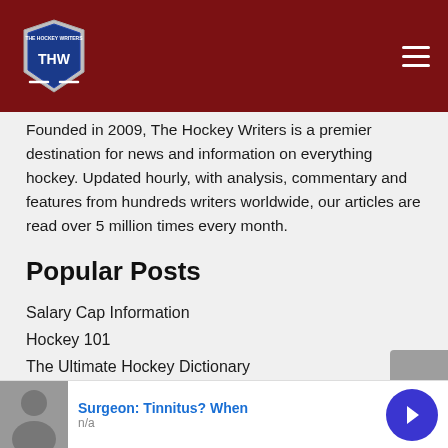THW - The Hockey Writers
Founded in 2009, The Hockey Writers is a premier destination for news and information on everything hockey. Updated hourly, with analysis, commentary and features from hundreds writers worldwide, our articles are read over 5 million times every month.
Popular Posts
Salary Cap Information
Hockey 101
The Ultimate Hockey Dictionary
NHL Team Origins
[Figure (other): Advertisement banner: Surgeon: Tinnitus? When, n/a, with a photo of a person and a blue arrow button]